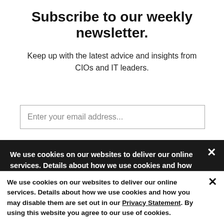Subscribe to our weekly newsletter.
Keep up with the latest advice and insights from CIOs and IT leaders.
Enter your email address...
We use cookies on our websites to deliver our online services. Details about how we use cookies and how you may disable them are set out in our Privacy Statement. By using this website you agree to our use of cookies.
We use cookies on our websites to deliver our online services. Details about how we use cookies and how you may disable them are set out in our Privacy Statement. By using this website you agree to our use of cookies.